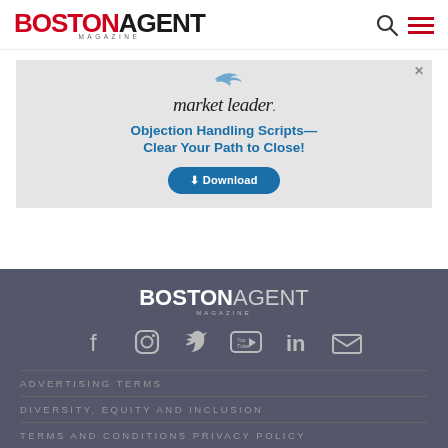[Figure (logo): Boston Agent Magazine logo in header - BOSTON in red bold, AGENT in black bold, MAGAZINE in small letters below]
[Figure (infographic): Advertisement for market leader: Objection Handling Scripts - Clear Your Path to Close! with Download button]
[Figure (logo): Boston Agent Magazine footer logo in white/grey on dark background]
[Figure (infographic): Social media icons row: Facebook, Instagram, Twitter, YouTube, LinkedIn, Email]
ADVERTISING TERMS
DIVERSITY, EQUITY AND INCLUSION
TERMS AND CONDITIONS PRIVACY POLICY